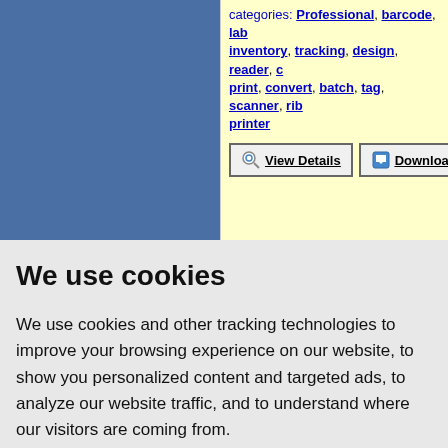[Figure (photo): Blue rectangular image placeholder on the left side of the top section]
categories: Professional, barcode, label, inventory, tracking, design, reader, convert, print, convert, batch, tag, scanner, ribbon, printer
View Details | Download
We use cookies
We use cookies and other tracking technologies to improve your browsing experience on our website, to show you personalized content and targeted ads, to analyze our website traffic, and to understand where our visitors are coming from.
I agree | Change my preferences